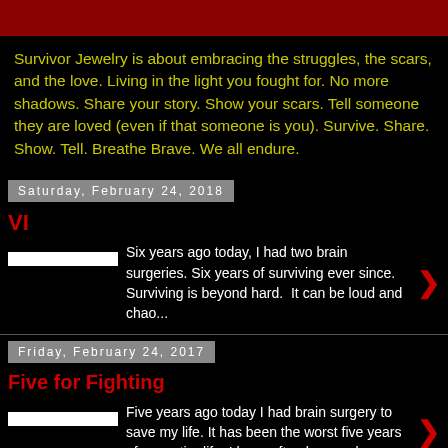Survivor Jewelry is about embracing the struggles, the scars, and the love. Living in the light you fought for. No more shadows. Share your story. Show your scars. Tell someone they are loved (even if that someone is you). Survive. Share. Show. Tell. Breathe Brave. We all endure.
Saturday, February 24, 2018
VI
Six years ago today, I had two brain surgeries. Six years of surviving ever since. Surviving is beyond hard.  It can be loud and chao...
Friday, February 24, 2017
Five for Fighting
Five years ago today I had brain surgery to save my life. It has been the worst five years of my entire life. I have often been cal...
1 comment: